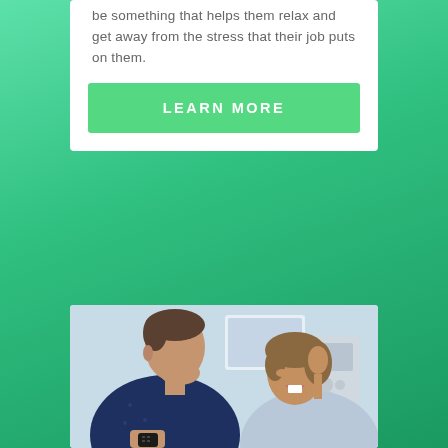be something that helps them relax and get away from the stress that their job puts on them.
LEARN MORE
[Figure (photo): A man and woman laughing together indoors; the man is holding a TV remote control and leaning toward the woman who is smiling broadly.]